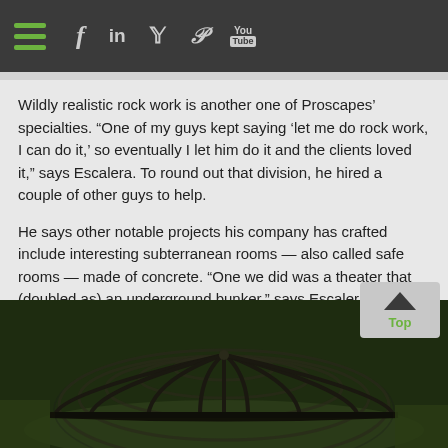Navigation bar with hamburger menu, Facebook, LinkedIn, Twitter, Pinterest, YouTube icons
Wildly realistic rock work is another one of Proscapes’ specialties. “One of my guys kept saying ‘let me do rock work, I can do it,’ so eventually I let him do it and the clients loved it,” says Escalera. To round out that division, he hired a couple of other guys to help.
He says other notable projects his company has crafted include interesting subterranean rooms — also called safe rooms — made of concrete. “One we did was a theater that (doubled as) an underground bunker,” says Escalera. “It kind of looks like an old train car with vaulted ceilings and crushed velvet detailing — all underground on a property.”
[Figure (photo): A dome-shaped metal rebar/wire grid framework structure on the ground surrounded by greenery, shot from above at an angle.]